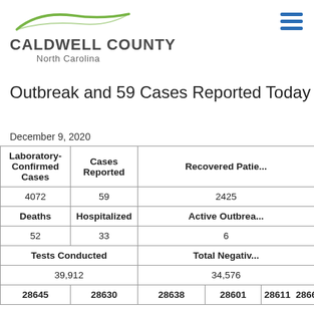[Figure (logo): Caldwell County North Carolina logo with green arc and text]
Outbreak and 59 Cases Reported Today
December 9, 2020
| Laboratory-Confirmed Cases | Cases Reported | Recovered Patie... | Deaths | Hospitalized | Active Outbrea... | Tests Conducted | Total Negativ... |
| --- | --- | --- | --- | --- | --- | --- | --- |
| 4072 | 59 | 2425 |
| Deaths | Hospitalized | Active Outbrea... |
| 52 | 33 | 6 |
| Tests Conducted |  | Total Negativ... |
| 39,912 |  | 34,576 |
| 28645 | 28630 | 28638 | 28601 | 28611 | 28667 |